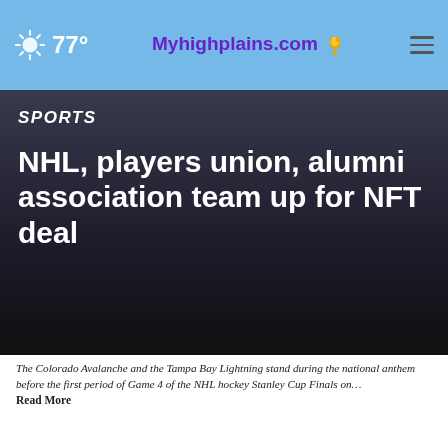77° Myhighplains.com
SPORTS
NHL, players union, alumni association team up for NFT deal
The Colorado Avalanche and the Tampa Bay Lightning stand during the national anthem before the first period of Game 4 of the NHL hockey Stanley Cup Finals on… Read More
by: STEPHEN WHYNO, Associated Press
Posted: Jun 23, 2022 / 08:35 AM CDT
Updated: Jun 23, 2022 / 08:35 AM CDT
SHARE
Listen to the new podcast about adoption.